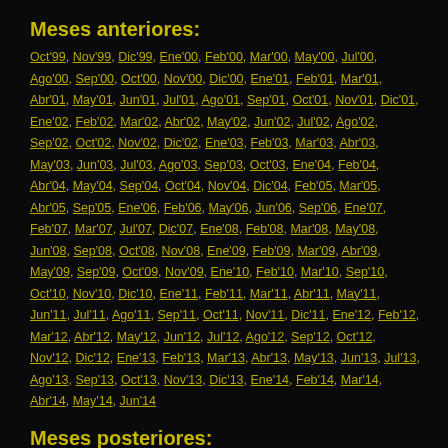Meses anteriores:
Oct'99, Nov'99, Dic'99, Ene'00, Feb'00, Mar'00, May'00, Jul'00, Ago'00, Sep'00, Oct'00, Nov'00, Dic'00, Ene'01, Feb'01, Mar'01, Abr'01, May'01, Jun'01, Jul'01, Ago'01, Sep'01, Oct'01, Nov'01, Dic'01, Ene'02, Feb'02, Mar'02, Abr'02, May'02, Jun'02, Jul'02, Ago'02, Sep'02, Oct'02, Nov'02, Dic'02, Ene'03, Feb'03, Mar'03, Abr'03, May'03, Jun'03, Jul'03, Ago'03, Sep'03, Oct'03, Ene'04, Feb'04, Abr'04, May'04, Sep'04, Oct'04, Nov'04, Dic'04, Feb'05, Mar'05, Abr'05, Sep'05, Ene'06, Feb'06, May'06, Jun'06, Sep'06, Ene'07, Feb'07, Mar'07, Jul'07, Dic'07, Ene'08, Feb'08, Mar'08, May'08, Jun'08, Sep'08, Oct'08, Nov'08, Ene'09, Feb'09, Mar'09, Abr'09, May'09, Sep'09, Oct'09, Nov'09, Ene'10, Feb'10, Mar'10, Sep'10, Oct'10, Nov'10, Dic'10, Ene'11, Feb'11, Mar'11, Abr'11, May'11, Jun'11, Jul'11, Ago'11, Sep'11, Oct'11, Nov'11, Dic'11, Ene'12, Feb'12, Mar'12, Abr'12, May'12, Jun'12, Jul'12, Ago'12, Sep'12, Oct'12, Nov'12, Dic'12, Ene'13, Feb'13, Mar'13, Abr'13, May'13, Jun'13, Jul'13, Ago'13, Sep'13, Oct'13, Nov'13, Dic'13, Ene'14, Feb'14, Mar'14, Abr'14, May'14, Jun'14
Meses posteriores: